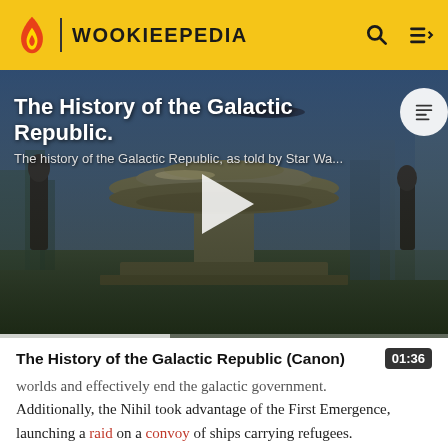WOOKIEEPEDIA
[Figure (screenshot): Video thumbnail showing a Star Wars scene with a flying saucer-shaped structure (Senate building) against a sci-fi cityscape background. The video title 'The History of the Galactic Republic.' and subtitle 'The history of the Galactic Republic, as told by Star Wa...' are overlaid in white text. A play button triangle is shown in the center.]
The History of the Galactic Republic (Canon)
worlds and effectively end the galactic government. Additionally, the Nihil took advantage of the First Emergence, launching a raid on a convoy of ships carrying refugees. Nevertheless, because he had caused